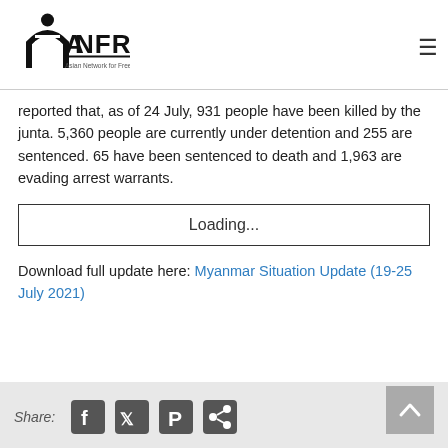ANFREL - Asian Network for Free Elections
reported that, as of 24 July, 931 people have been killed by the junta. 5,360 people are currently under detention and 255 are sentenced. 65 have been sentenced to death and 1,963 are evading arrest warrants.
[Figure (other): Loading... placeholder box]
Download full update here: Myanmar Situation Update (19-25 July 2021)
[Figure (other): Share bar with social media icons: Facebook, Twitter, Pinterest, Share. Back to top button on the right.]